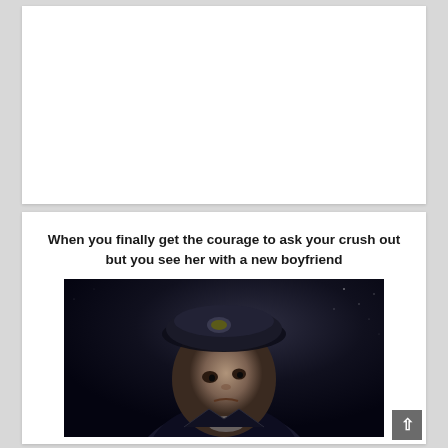[Figure (other): White blank top card area]
When you finally get the courage to ask your crush out but you see her with a new boyfriend
[Figure (photo): Dark scene showing a young person in a military-style cap looking sad or dejected, set against a dark starry background]